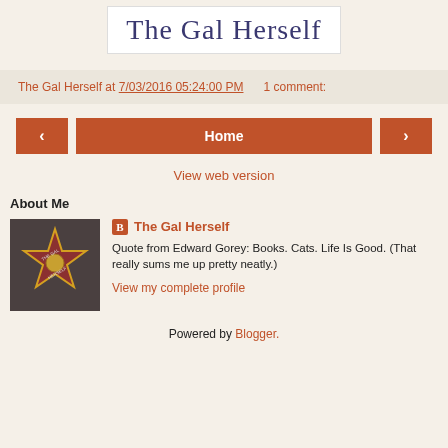[Figure (logo): Cursive script logo reading 'The Gal Herself' in blue ink on white background with border]
The Gal Herself at 7/03/2016 05:24:00 PM    1 comment:
[Figure (other): Navigation bar with left arrow button, Home button, and right arrow button in orange-red color]
View web version
About Me
[Figure (photo): Hollywood Walk of Fame star with text 'The Gal Herself']
The Gal Herself
Quote from Edward Gorey: Books. Cats. Life Is Good. (That really sums me up pretty neatly.)
View my complete profile
Powered by Blogger.